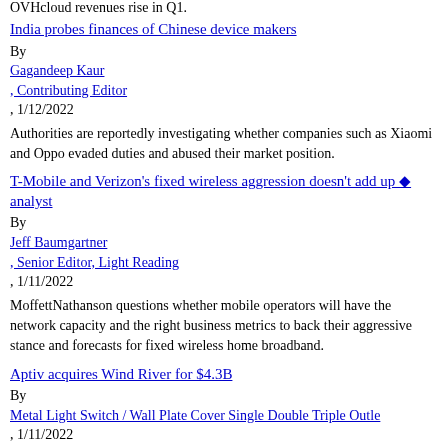OVHcloud revenues rise in Q1.
India probes finances of Chinese device makers
By
Gagandeep Kaur
, Contributing Editor
, 1/12/2022
Authorities are reportedly investigating whether companies such as Xiaomi and Oppo evaded duties and abused their market position.
T-Mobile and Verizon's fixed wireless aggression doesn't add up ◆ analyst
By
Jeff Baumgartner
, Senior Editor, Light Reading
, 1/11/2022
MoffettNathanson questions whether mobile operators will have the network capacity and the right business metrics to back their aggressive stance and forecasts for fixed wireless home broadband.
Aptiv acquires Wind River for $4.3B
By
Metal Light Switch / Wall Plate Cover Single Double Triple Outle
, 1/11/2022